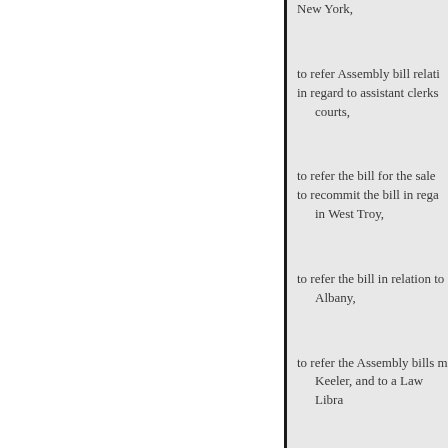New York,
to refer Assembly bill relati in regard to assistant clerks courts,
to refer the bill for the sale to recommit the bill in rega in West Troy,
to refer the bill in relation to Albany,
to refer the Assembly bills m Keeler, and to a Law Libra
to refer Assembly bill No. 1 of Fonda,
to refer Assembly bill No. 8